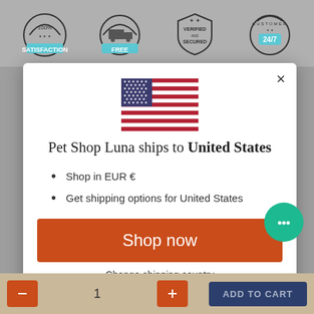[Figure (screenshot): Top bar with four trust/badge icons: 100% Satisfaction, Free shipping truck, Verified and Secured shield, Customer 24/7]
[Figure (illustration): United States flag SVG illustration]
Pet Shop Luna ships to United States
Shop in EUR €
Get shipping options for United States
Shop now
Change shipping country
[Figure (illustration): Green chat bubble icon in bottom right of modal]
[Figure (screenshot): Bottom bar with quantity controls (minus, 1, plus) and ADD TO CART button]